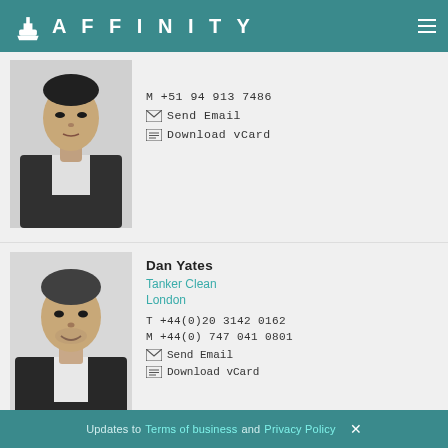AFFINITY
[Figure (photo): Black and white headshot of an Asian man in a suit and white shirt]
M +51 94 913 7486
Send Email
Download vCard
[Figure (photo): Black and white headshot of Dan Yates, a man in a dark blazer]
Dan Yates
Tanker Clean
London
T +44(0)20 3142 0162
M +44(0) 747 041 0801
Send Email
Download vCard
Updates to Terms of business and Privacy Policy ×